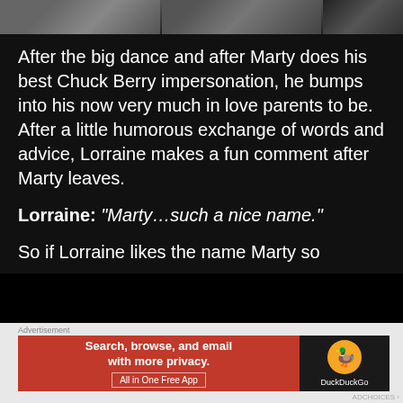[Figure (photo): Photo strip of people at top of page, dark background]
After the big dance and after Marty does his best Chuck Berry impersonation, he bumps into his now very much in love parents to be. After a little humorous exchange of words and advice, Lorraine makes a fun comment after Marty leaves.
Lorraine: “Marty…such a nice name.”
So if Lorraine likes the name Marty so
[Figure (screenshot): DuckDuckGo advertisement banner: Search, browse, and email with more privacy. All in One Free App. DuckDuckGo logo on right.]